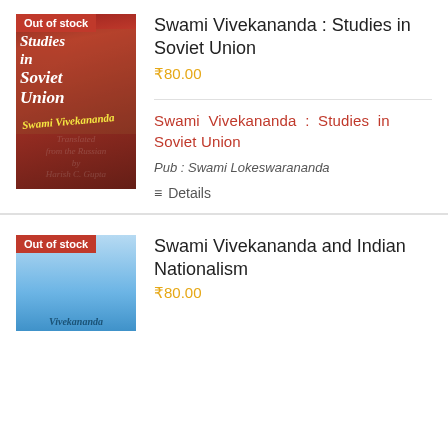[Figure (illustration): Book cover for 'Swami Vivekananda: Studies in Soviet Union' with red background and crowd image. 'Out of stock' badge in top left.]
Swami Vivekananda : Studies in Soviet Union
₹80.00
Swami Vivekananda : Studies in Soviet Union
Pub : Swami Lokeswarananda
Details
[Figure (illustration): Book cover for 'Swami Vivekananda and Indian Nationalism' partially shown, blue tones. 'Out of stock' badge.]
Swami Vivekananda and Indian Nationalism
₹80.00